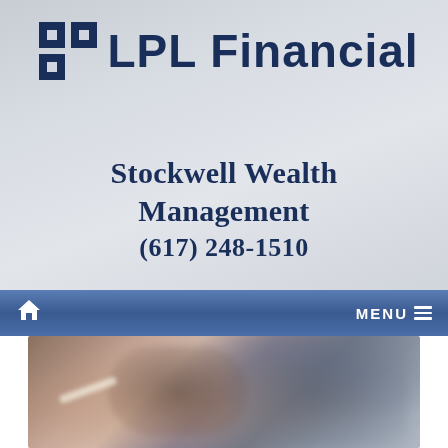[Figure (logo): LPL Financial logo with stylized square bracket icon and bold text]
Stockwell Wealth Management
(617) 248-1510
[Figure (infographic): Navigation bar with home icon on left and MENU hamburger icon on right, blue gradient background]
[Figure (photo): Blurred close-up photo of what appears to be a briefcase or leather bags, warm brown and cool grey tones]